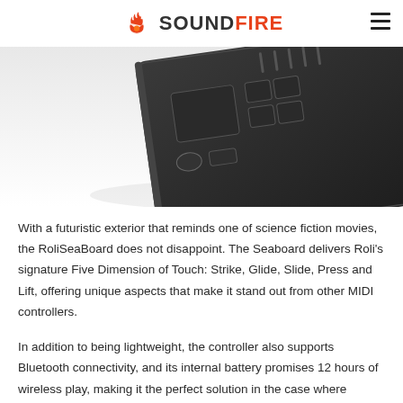SOUNDFIRE
[Figure (photo): Close-up photo of a dark/black MIDI controller device (RoliSeaBoard) showing touchpad, buttons and surface detail against a white background.]
With a futuristic exterior that reminds one of science fiction movies, the RoliSeaBoard does not disappoint. The Seaboard delivers Roli's signature Five Dimension of Touch: Strike, Glide, Slide, Press and Lift, offering unique aspects that make it stand out from other MIDI controllers.
In addition to being lightweight, the controller also supports Bluetooth connectivity, and its internal battery promises 12 hours of wireless play, making it the perfect solution in the case where portability is the issue. It comes